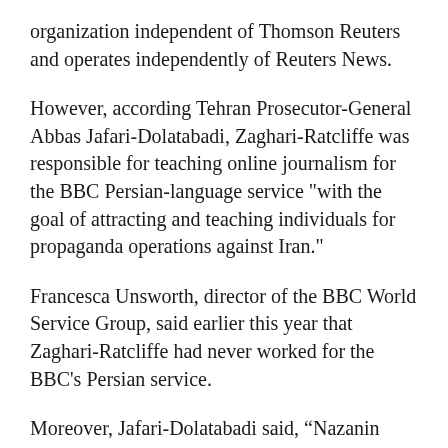organization independent of Thomson Reuters and operates independently of Reuters News.
However, according Tehran Prosecutor-General Abbas Jafari-Dolatabadi, Zaghari-Ratcliffe was responsible for teaching online journalism for the BBC Persian-language service "with the goal of attracting and teaching individuals for propaganda operations against Iran."
Francesca Unsworth, director of the BBC World Service Group, said earlier this year that Zaghari-Ratcliffe had never worked for the BBC's Persian service.
Moreover, Jafari-Dolatabadi said, “Nazanin used to teach the techniques for creating email accounts under assumed names and very long and